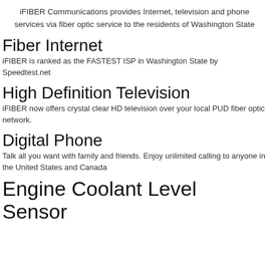iFIBER Communications provides Internet, television and phone services via fiber optic service to the residents of Washington State
Fiber Internet
iFIBER is ranked as the FASTEST ISP in Washington State by Speedtest.net
High Definition Television
iFIBER now offers crystal clear HD television over your local PUD fiber optic network.
Digital Phone
Talk all you want with family and friends. Enjoy unlimited calling to anyone in the United States and Canada
Engine Coolant Level Sensor